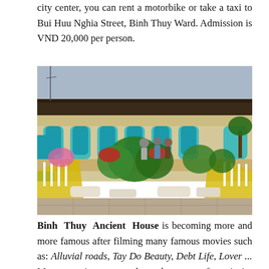city center, you can rent a motorbike or take a taxi to Bui Huu Nghia Street, Binh Thuy Ward. Admission is VND 20,000 per person.
[Figure (photo): Exterior of Binh Thuy Ancient House showing colorful French-colonial architecture with arched windows in teal/blue, ornate facade, yellow balustrade stairways, and lush tropical plants and flowers in the foreground. Several visitors stand on the terrace.]
Binh Thuy Ancient House is becoming more and more famous after filming many famous movies such as: Alluvial roads, Tay Do Beauty, Debt Life, Lover ... Many tourists come here because of curiosity architecture from hundred years ago